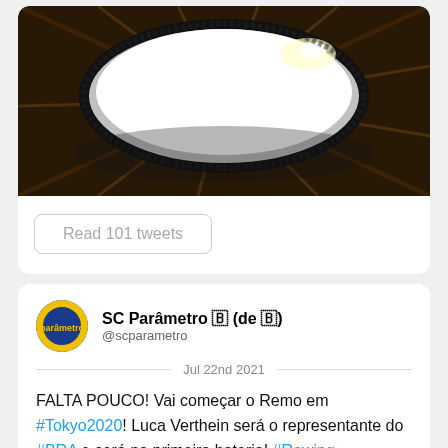[Figure (photo): Interior view of a stadium roof/ceiling with oval opening letting in bright light, wooden truss structure visible]
Read 101 tweets
SC Parâmetro 🇧 (de 🇧)
@scparametro
Jul 22nd 2021
FALTA POUCO! Vai começar o Remo em #Tokyo2020! Luca Verthein será o representante do #BRA e será na primeira bateria! #Rowing
[Figure (screenshot): SporTV 2 broadcast screenshot showing sky with clouds, rowing event coverage]